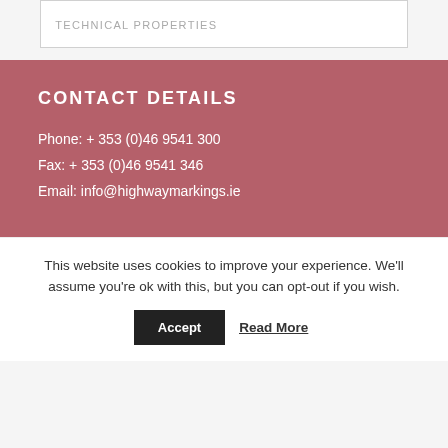TECHNICAL PROPERTIES
CONTACT DETAILS
Phone: + 353 (0)46 9541 300
Fax: + 353 (0)46 9541 346
Email: info@highwaymarkings.ie
This website uses cookies to improve your experience. We'll assume you're ok with this, but you can opt-out if you wish.
Accept
Read More